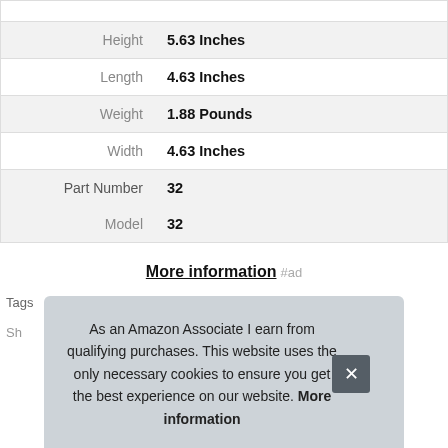| Property | Value |
| --- | --- |
| Height | 5.63 Inches |
| Length | 4.63 Inches |
| Weight | 1.88 Pounds |
| Width | 4.63 Inches |
| Part Number | 32 |
| Model | 32 |
More information #ad
As an Amazon Associate I earn from qualifying purchases. This website uses the only necessary cookies to ensure you get the best experience on our website. More information